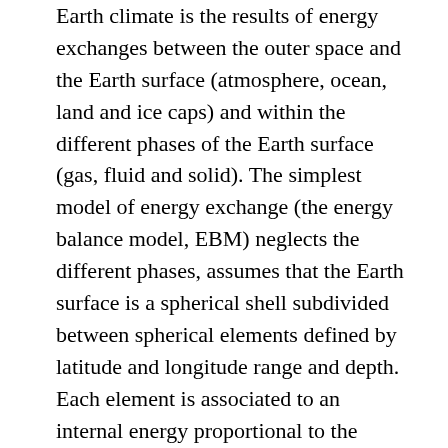Earth climate is the results of energy exchanges between the outer space and the Earth surface (atmosphere, ocean, land and ice caps) and within the different phases of the Earth surface (gas, fluid and solid). The simplest model of energy exchange (the energy balance model, EBM) neglects the different phases, assumes that the Earth surface is a spherical shell subdivided between spherical elements defined by latitude and longitude range and depth. Each element is associated to an internal energy proportional to the temperature (playing the role of state variable). The energy variation is the imbalance result between the thermal power exchanged at the top of the atmosphere  with the outer space, of the power exchanged between the different